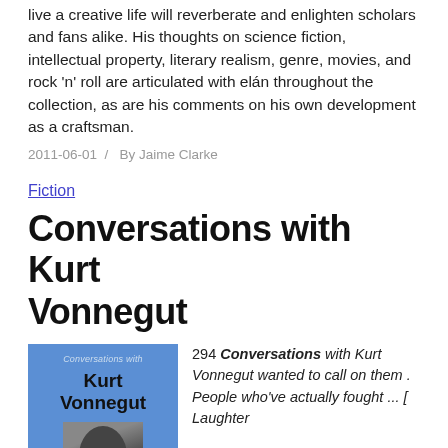live a creative life will reverberate and enlighten scholars and fans alike. His thoughts on science fiction, intellectual property, literary realism, genre, movies, and rock ‘n’ roll are articulated with elán throughout the collection, as are his comments on his own development as a craftsman.
2011-06-01  /  By Jaime Clarke
Fiction
Conversations with Kurt Vonnegut
[Figure (photo): Book cover of 'Conversations with Kurt Vonnegut' — blue background with author name in bold black text and a black-and-white photo of Kurt Vonnegut's face.]
294 Conversations with Kurt Vonnegut wanted to call on them . People who've actually fought ... [ Laughter